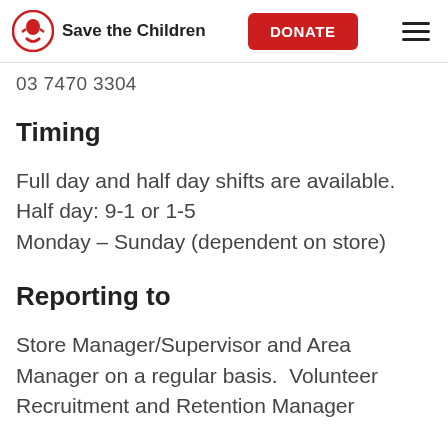Save the Children | DONATE
03 7470 3304
Timing
Full day and half day shifts are available.
Half day: 9-1 or 1-5
Monday – Sunday (dependent on store)
Reporting to
Store Manager/Supervisor and Area Manager on a regular basis.  Volunteer Recruitment and Retention Manager